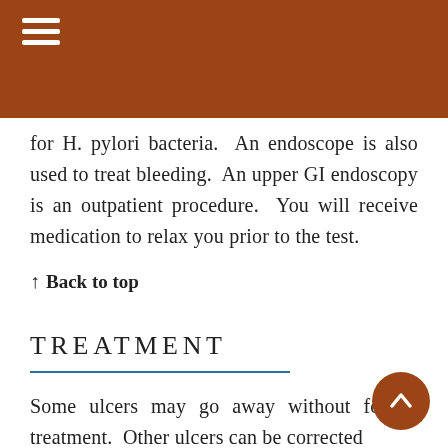for H. pylori bacteria.  An endoscope is also used to treat bleeding.  An upper GI endoscopy is an outpatient procedure.  You will receive medication to relax you prior to the test.
↑ Back to top
TREATMENT
Some ulcers may go away without formal treatment.  Other ulcers can be corrected